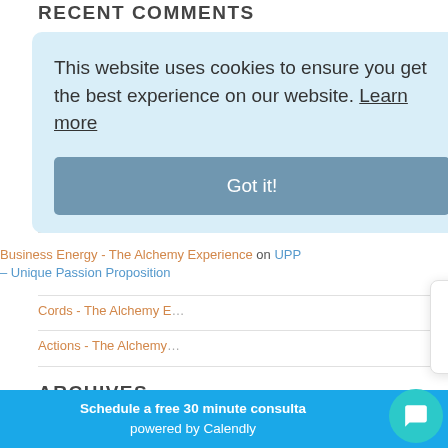RECENT COMMENTS
on
on
[Figure (screenshot): Cookie consent banner overlay with light blue background. Text: 'This website uses cookies to ensure you get the best experience on our website. Learn more' with a 'Got it!' button.]
Business Energy - The Alchemy Experience on UPP – Unique Passion Proposition
Cords - The Alchemy E...
Actions - The Alchemy...
ARCHIVES
September 2...
[Figure (screenshot): Chat popup widget with close X button. Text: 'Got any questions? I'm happy to help.']
Schedule a free 30 minute consulta powered by Calendly